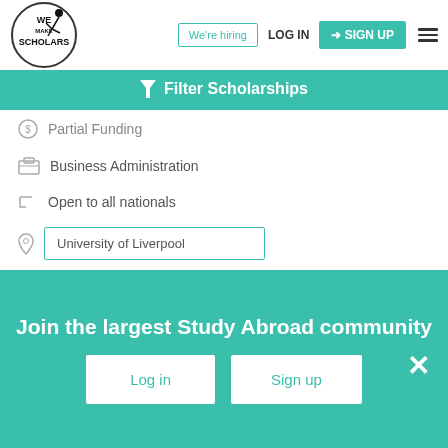[Figure (logo): We Make Scholars logo with acrobatic figure and circle]
We're hiring
LOG IN
SIGN UP
Filter Scholarships
Partial Funding
Business Administration
Open to all nationals
University of Liverpool
Shortlist
View & Apply
Update your status of this scholarship
Join the largest Study Abroad community
Log in
Sign up